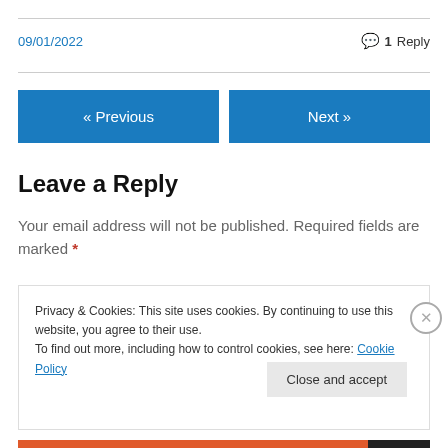09/01/2022
1 Reply
« Previous
Next »
Leave a Reply
Your email address will not be published. Required fields are marked *
Privacy & Cookies: This site uses cookies. By continuing to use this website, you agree to their use.
To find out more, including how to control cookies, see here: Cookie Policy
Close and accept